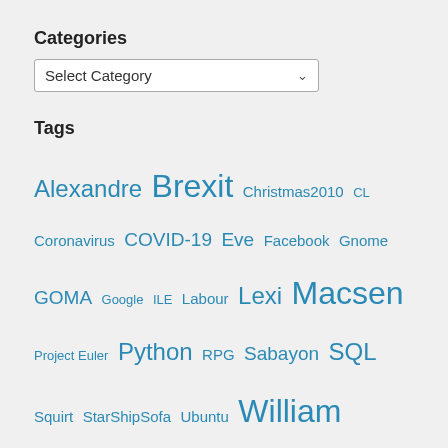Categories
Select Category
Tags
Alexandre Brexit Christmas2010 CL Coronavirus COVID-19 Eve Facebook Gnome GOMA Google ILE Labour Lexi Macsen Project Euler Python RPG Sabayon SQL Squirt StarShipSofa Ubuntu William Wordpress
Talkback
fragglerocking on 'Angry minion' with no anus